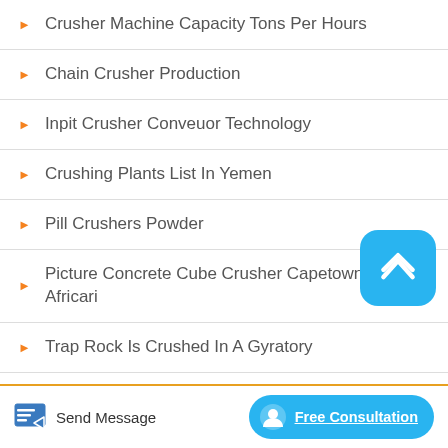Crusher Machine Capacity Tons Per Hours
Chain Crusher Production
Inpit Crusher Conveuor Technology
Crushing Plants List In Yemen
Pill Crushers Powder
Picture Concrete Cube Crusher Capetown South Africari
Trap Rock Is Crushed In A Gyratory
Send Message | Free Consultation